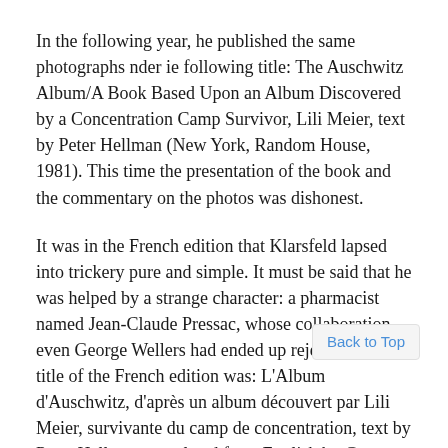In the following year, he published the same photographs nder ie following title: The Auschwitz Album/A Book Based Upon an Album Discovered by a Concentration Camp Survivor, Lili Meier, text by Peter Hellman (New York, Random House, 1981). This time the presentation of the book and the commentary on the photos was dishonest.
It was in the French edition that Klarsfeld lapsed into trickery pure and simple. It must be said that he was helped by a strange character: a pharmacist named Jean-Claude Pressac, whose collaboration even George Wellers had ended up rejecting. The title of the French edition was: L'Album d'Auschwitz, d'après un album découvert par Lili Meier, survivante du camp de concentration, text by Peter Hellman, translated from English by Guy Casaril, French edition established and completed by Anne Freyer and Jean-Claude Pressac (Editions du Seuil, 1983). The order of the photos was completely rearranged so a the Exterminationist thesis. Titles for the various sections of the original album were transformed; new captions were even forged